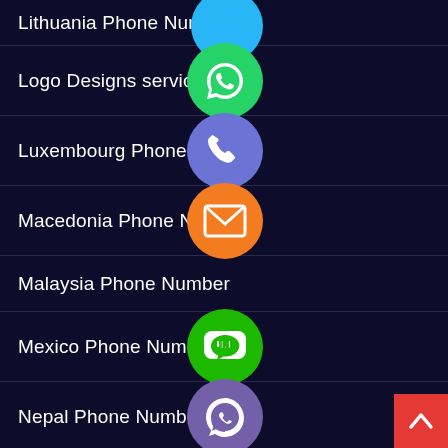Lithuania Phone Number
Logo Designs service
Luxembourg Phone Number
Macedonia Phone Number
Malaysia Phone Number
Mexico Phone Number
Nepal Phone Number
Netherlands Mobile Number
New Zealand Mobile Number